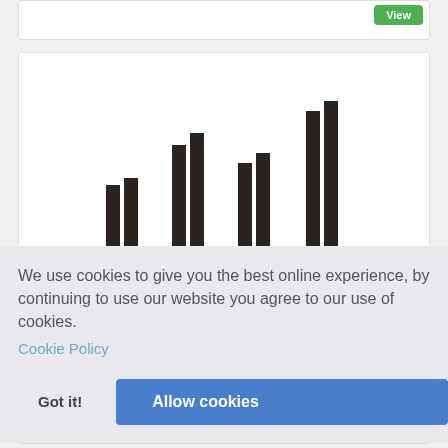[Figure (screenshot): Top card with View button (green) on a white card]
[Figure (photo): Product photo showing multiple sets of black cylindrical column/post pairs of increasing heights arranged side by side]
We use cookies to give you the best online experience, by continuing to use our website you agree to our use of cookies.
Cookie Policy
Got it!
Allow cookies